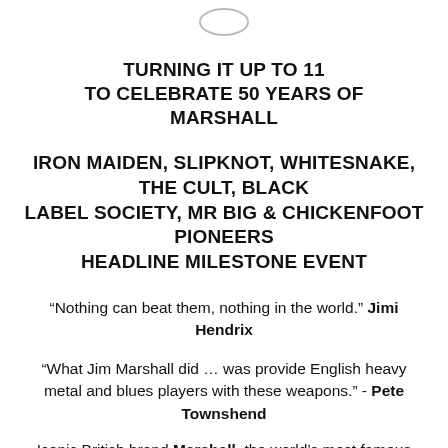[Figure (logo): Partially visible circular logo at the top center of the page]
TURNING IT UP TO 11
TO CELEBRATE 50 YEARS OF MARSHALL
IRON MAIDEN, SLIPKNOT, WHITESNAKE, THE CULT, BLACK LABEL SOCIETY, MR BIG & CHICKENFOOT PIONEERS HEADLINE MILESTONE EVENT
“Nothing can beat them, nothing in the world.” Jimi Hendrix
“What Jim Marshall did … was provide English heavy metal and blues players with these weapons.” - Pete Townshend
Iconic British brand Marshall, the world’s most famous and